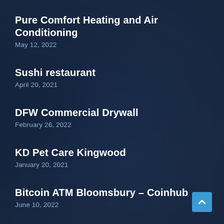Pure Comfort Heating and Air Conditioning
May 12, 2022
Sushi restaurant
April 20, 2021
DFW Commercial Drywall
February 26, 2022
KD Pet Care Kingwood
January 20, 2021
Bitcoin ATM Bloomsbury – Coinhub
June 10, 2022